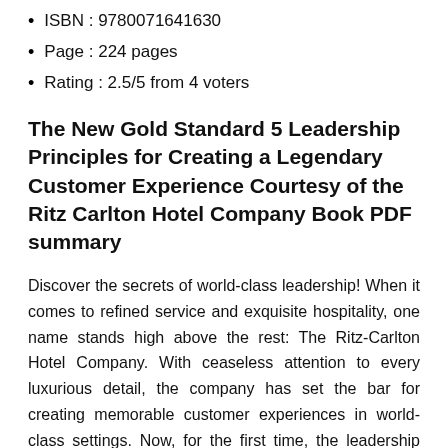ISBN : 9780071641630
Page : 224 pages
Rating : 2.5/5 from 4 voters
The New Gold Standard 5 Leadership Principles for Creating a Legendary Customer Experience Courtesy of the Ritz Carlton Hotel Company Book PDF summary
Discover the secrets of world-class leadership! When it comes to refined service and exquisite hospitality, one name stands high above the rest: The Ritz-Carlton Hotel Company. With ceaseless attention to every luxurious detail, the company has set the bar for creating memorable customer experiences in world-class settings. Now, for the first time, the leadership secrets behind the company's extraordinary success are revealed. The New Gold Standard takes you on an exclusive tour behind the scenes of The Ritz Carlton